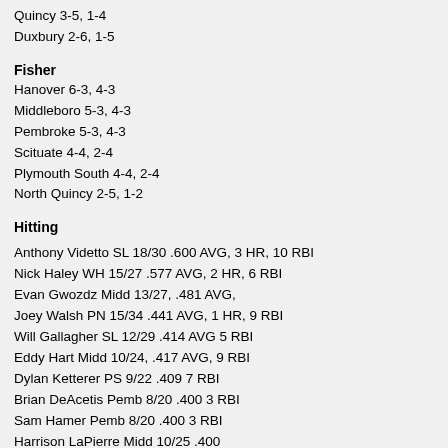Quincy 3-5, 1-4
Duxbury 2-6, 1-5
Fisher
Hanover 6-3, 4-3
Middleboro 5-3, 4-3
Pembroke 5-3, 4-3
Scituate 4-4, 2-4
Plymouth South 4-4, 2-4
North Quincy 2-5, 1-2
Hitting
Anthony Videtto SL 18/30 .600 AVG, 3 HR, 10 RBI
Nick Haley WH 15/27 .577 AVG, 2 HR, 6 RBI
Evan Gwozdz Midd 13/27, .481 AVG,
Joey Walsh PN 15/34 .441 AVG, 1 HR, 9 RBI
Will Gallagher SL 12/29 .414 AVG 5 RBI
Eddy Hart Midd 10/24, .417 AVG, 9 RBI
Dylan Ketterer PS 9/22 .409 7 RBI
Brian DeAcetis Pemb 8/20 .400 3 RBI
Sam Hamer Pemb 8/20 .400 3 RBI
Harrison LaPierre Midd 10/25 .400
Colin Nicklas PN 13/33 .399 10 RBI
Chris Elliiott PS 11/29 .379
Peter Murphy Hing 9/24 .375 4 RBI
Pat Melampy Dux 8/22 .363 4 RBI